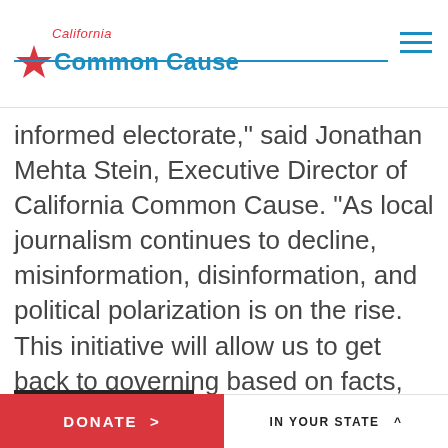California Common Cause
informed electorate,” said Jonathan Mehta Stein, Executive Director of California Common Cause. “As local journalism continues to decline, misinformation, disinformation, and political polarization is on the rise. This initiative will allow us to get back to governing based on facts, and with a news industry that’s inclusive of every voice in our state.”
Read more >
DONATE > | IN YOUR STATE ^